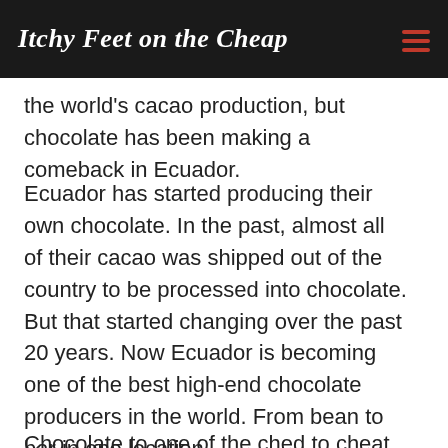Itchy Feet on the Cheap
the world's cacao production, but chocolate has been making a comeback in Ecuador.
Ecuador has started producing their own chocolate. In the past, almost all of their cacao was shipped out of the country to be processed into chocolate. But that started changing over the past 20 years. Now Ecuador is becoming one of the best high-end chocolate producers in the world. From bean to bar in one location.
Chocolate to one of the ched to cheat in one